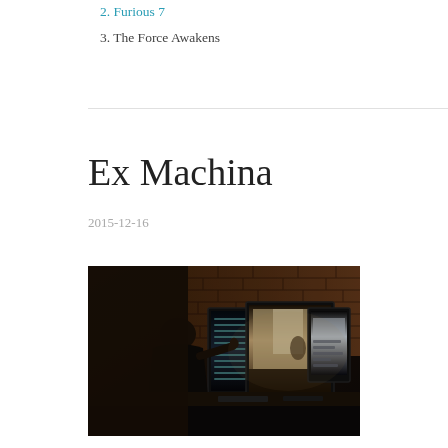2. Furious 7
3. The Force Awakens
Ex Machina
2015-12-16
[Figure (photo): A person sitting at a desk in front of three computer monitors displaying various screens, in a dimly lit room with a brick wall background.]